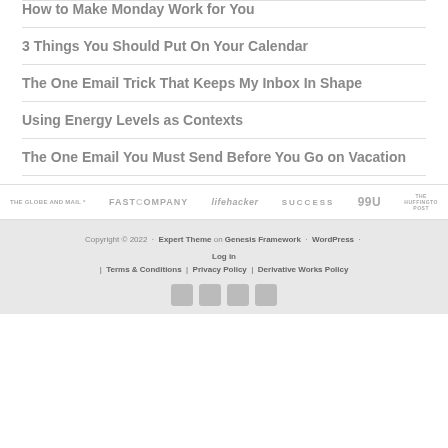How to Make Monday Work for You
3 Things You Should Put On Your Calendar
The One Email Trick That Keeps My Inbox In Shape
Using Energy Levels as Contexts
The One Email You Must Send Before You Go on Vacation
[Figure (logo): Media logos bar: The Globe and Mail, Fast Company, Lifehacker, SUCCESS, 99U, The Huffington Post]
Copyright © 2022 · Expert Theme on Genesis Framework · WordPress · | Log in | Terms & Conditions | Privacy Policy | Derivative Works Policy